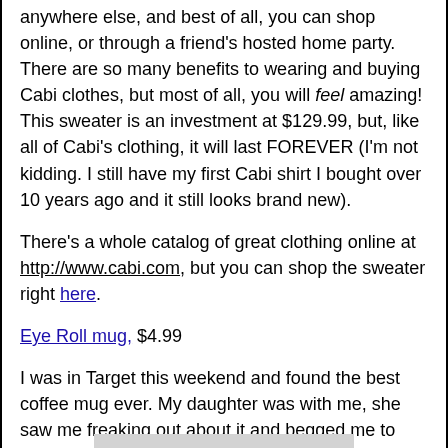anywhere else, and best of all, you can shop online, or through a friend's hosted home party. There are so many benefits to wearing and buying Cabi clothes, but most of all, you will feel amazing! This sweater is an investment at $129.99, but, like all of Cabi's clothing, it will last FOREVER (I'm not kidding. I still have my first Cabi shirt I bought over 10 years ago and it still looks brand new).
There's a whole catalog of great clothing online at http://www.cabi.com, but you can shop the sweater right here.
Eye Roll mug, $4.99
I was in Target this weekend and found the best coffee mug ever. My daughter was with me, she saw me freaking out about it and begged me to buy it so she could wrap it up and give it to me for Christmas.
Uh? Sold!